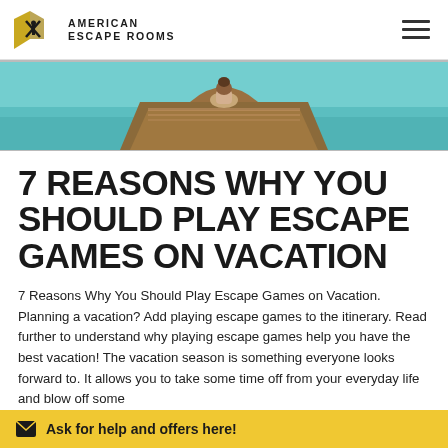American Escape Rooms
[Figure (photo): A person sitting on the bow of a wooden boat on turquoise water, viewed from behind.]
7 REASONS WHY YOU SHOULD PLAY ESCAPE GAMES ON VACATION
7 Reasons Why You Should Play Escape Games on Vacation. Planning a vacation? Add playing escape games to the itinerary. Read further to understand why playing escape games help you have the best vacation! The vacation season is something everyone looks forward to. It allows you to take some time off from your everyday life and blow off some
Ask for help and offers here!